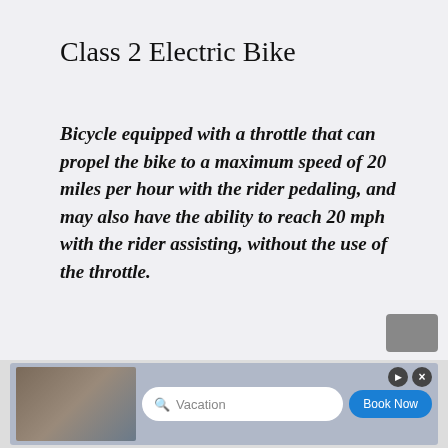Class 2 Electric Bike
Bicycle equipped with a throttle that can propel the bike to a maximum speed of 20 miles per hour with the rider pedaling, and may also have the ability to reach 20 mph with the rider assisting, without the use of the throttle.
[Figure (other): Advertisement banner at the bottom of the page showing a search bar with 'Vacation' placeholder text and a 'Book Now' button, with a photo on the left side.]